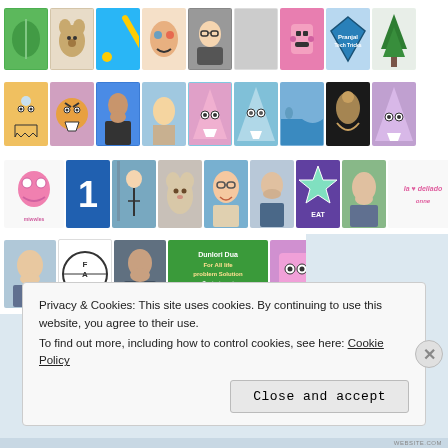[Figure (screenshot): A grid of user avatar/profile images arranged in four rows, showing various cartoon characters, photos of people, logos, and illustrations from a social media or blog platform.]
Privacy & Cookies: This site uses cookies. By continuing to use this website, you agree to their use.
To find out more, including how to control cookies, see here: Cookie Policy
Close and accept